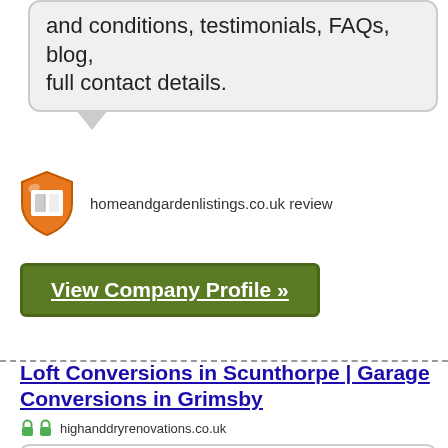and conditions, testimonials, FAQs, blog, full contact details.
[Figure (logo): Orange shield badge icon for homeandgardenlistings.co.uk review]
homeandgardenlistings.co.uk review
View Company Profile »
Loft Conversions in Scunthorpe | Garage Conversions in Grimsby
highhanddryrenovations.co.uk
[Figure (screenshot): White rounded box with partial house/roof image at bottom]